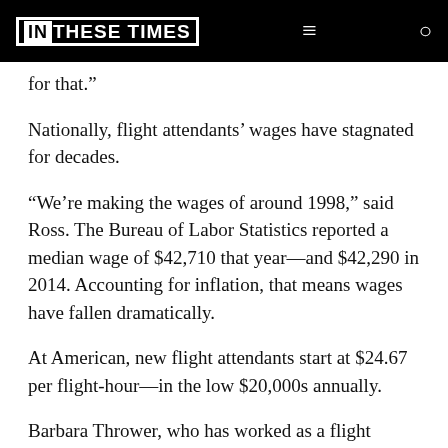IN THESE TIMES
for that.”
Nationally, flight attendants’ wages have stagnated for decades.
“We’re making the wages of around 1998,” said Ross. The Bureau of Labor Statistics reported a median wage of $42,710 that year—and $42,290 in 2014. Accounting for inflation, that means wages have fallen dramatically.
At American, new flight attendants start at $24.67 per flight-hour—in the low $20,000s annually.
Barbara Thrower, who has worked as a flight